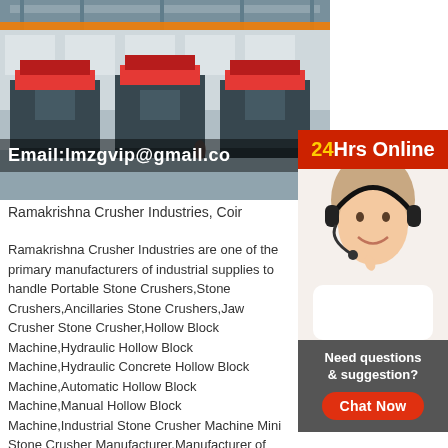[Figure (photo): Factory interior with large industrial stone crusher machines on a production floor, overhead crane visible]
Email:lmzgvip@gmail.co
[Figure (photo): Customer service representative woman wearing headset smiling, with 24Hrs Online banner and Chat Now button overlay]
Ramakrishna Crusher Industries, Coir
Ramakrishna Crusher Industries are one of the primary manufacturers of industrial supplies to handle Portable Stone Crushers,Stone Crushers,Ancillaries Stone Crushers,Jaw Crusher Stone Crusher,Hollow Block Machine,Hydraulic Hollow Block Machine,Hydraulic Concrete Hollow Block Machine,Automatic Hollow Block Machine,Manual Hollow Block Machine,Industrial Stone Crusher Machine Mini Stone Crusher Manufacturer,Manufacturer of Stone Crusher Machine Mini Stone Crusher, Hollow Block & Solid Block Scrap Crusher offered by Vardhaman Engineering, Coimbatore, Tamil Nadu. Send Email 08048763430 85% Response Rate